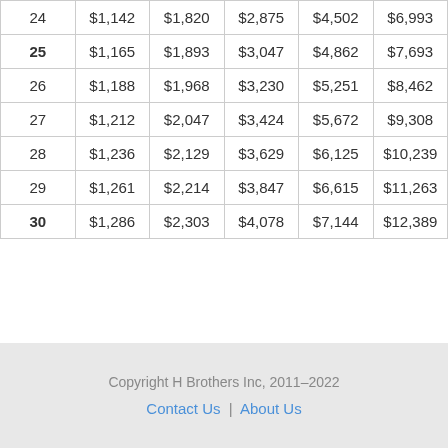| 24 | $1,142 | $1,820 | $2,875 | $4,502 | $6,993 |
| 25 | $1,165 | $1,893 | $3,047 | $4,862 | $7,693 |
| 26 | $1,188 | $1,968 | $3,230 | $5,251 | $8,462 |
| 27 | $1,212 | $2,047 | $3,424 | $5,672 | $9,308 |
| 28 | $1,236 | $2,129 | $3,629 | $6,125 | $10,239 |
| 29 | $1,261 | $2,214 | $3,847 | $6,615 | $11,263 |
| 30 | $1,286 | $2,303 | $4,078 | $7,144 | $12,389 |
Copyright H Brothers Inc, 2011–2022
Contact Us | About Us